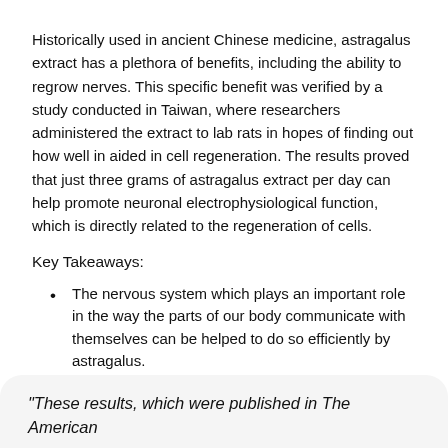Historically used in ancient Chinese medicine, astragalus extract has a plethora of benefits, including the ability to regrow nerves. This specific benefit was verified by a study conducted in Taiwan, where researchers administered the extract to lab rats in hopes of finding out how well in aided in cell regeneration. The results proved that just three grams of astragalus extract per day can help promote neuronal electrophysiological function, which is directly related to the regeneration of cells.
Key Takeaways:
The nervous system which plays an important role in the way the parts of our body communicate with themselves can be helped to do so efficiently by astragalus.
When studies were done on astragalus extract, earlier research has shown that the herb can be used as a potential nerve growth-promoting factor.
When nerve pain occurs it is either due to damage to the nervous system or a problem with the nervous system and is described as a sharp, burning pain.
"These results, which were published in The American